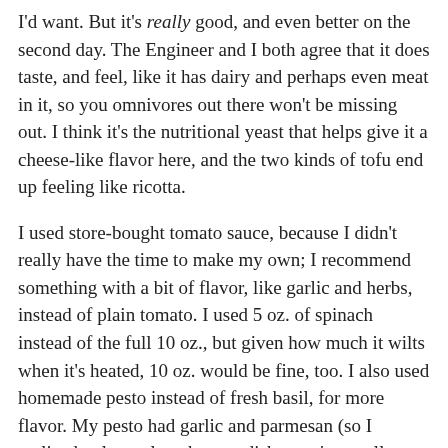I'd want. But it's really good, and even better on the second day. The Engineer and I both agree that it does taste, and feel, like it has dairy and perhaps even meat in it, so you omnivores out there won't be missing out. I think it's the nutritional yeast that helps give it a cheese-like flavor here, and the two kinds of tofu end up feeling like ricotta.
I used store-bought tomato sauce, because I didn't really have the time to make my own; I recommend something with a bit of flavor, like garlic and herbs, instead of plain tomato. I used 5 oz. of spinach instead of the full 10 oz., but given how much it wilts when it's heated, 10 oz. would be fine, too. I also used homemade pesto instead of fresh basil, for more flavor. My pesto had garlic and parmesan (so I realized only too late that my dish wasn't actually vegan – oops!), but plain pesto would be fine too. I was also pleased to see that there's another brand besides Tofutti in the dairy-free cream cheese niche; I used Follow Your Heart this time (and I used mozzarella-style vegan cheese by Galaxy Nutritional). I suspect that the dish I used is slightly smaller than what the recipe calls for, because I ran out of room and had to improvise the last layer. Don't let this stop you, as there's